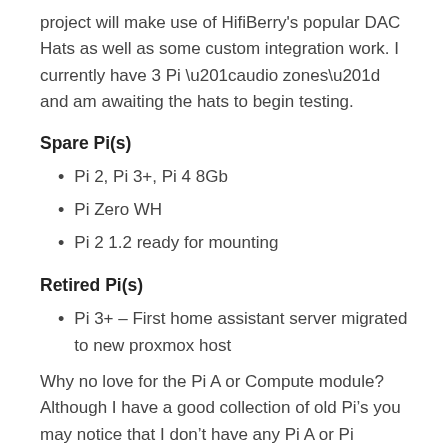project will make use of HifiBerry's popular DAC Hats as well as some custom integration work. I currently have 3 Pi “audio zones” and am awaiting the hats to begin testing.
Spare Pi(s)
Pi 2, Pi 3+, Pi 4 8Gb
Pi Zero WH
Pi 2 1.2 ready for mounting
Retired Pi(s)
Pi 3+ – First home assistant server migrated to new proxmox host
Why no love for the Pi A or Compute module? Although I have a good collection of old Pi’s you may notice that I don’t have any Pi A or Pi Compute modules on the